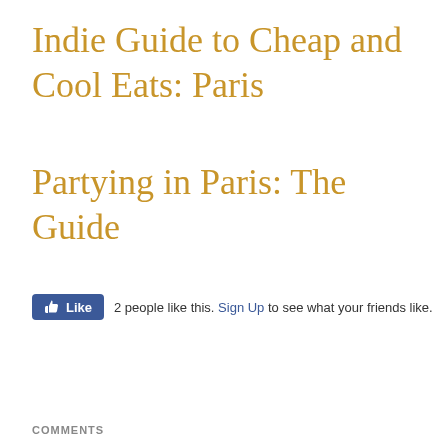Indie Guide to Cheap and Cool Eats: Paris
Partying in Paris: The Guide
2 people like this. Sign Up to see what your friends like.
COMMENTS